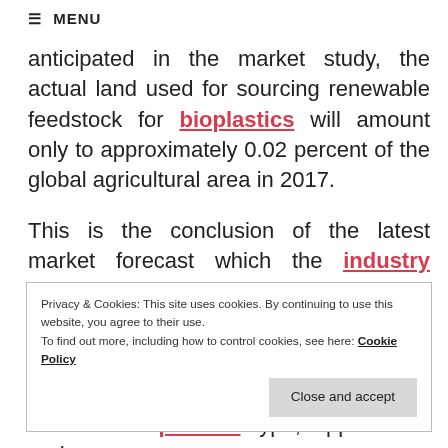≡ MENU
anticipated in the market study, the actual land used for sourcing renewable feedstock for bioplastics will amount only to approximately 0.02 percent of the global agricultural area in 2017.
This is the conclusion of the latest market forecast which the industry association European
Privacy & Cookies: This site uses cookies. By continuing to use this website, you agree to their use.
To find out more, including how to control cookies, see here: Cookie Policy
Sciences and Arts Hannover in Germany.
In terms of plastics type, applications and